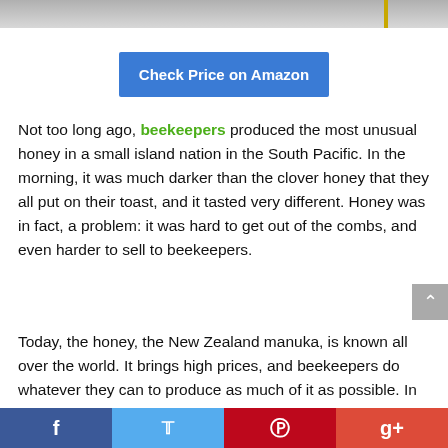[Figure (photo): Top portion of a product photo, cropped at top of page]
[Figure (other): Blue 'Check Price on Amazon' button]
Not too long ago, beekeepers produced the most unusual honey in a small island nation in the South Pacific. In the morning, it was much darker than the clover honey that they all put on their toast, and it tasted very different. Honey was in fact, a problem: it was hard to get out of the combs, and even harder to sell to beekeepers.
Today, the honey, the New Zealand manuka, is known all over the world. It brings high prices, and beekeepers do whatever they can to produce as much of it as possible. In leading hospitals, wound dressings containing manuka
Facebook  Twitter  Pinterest  Google+